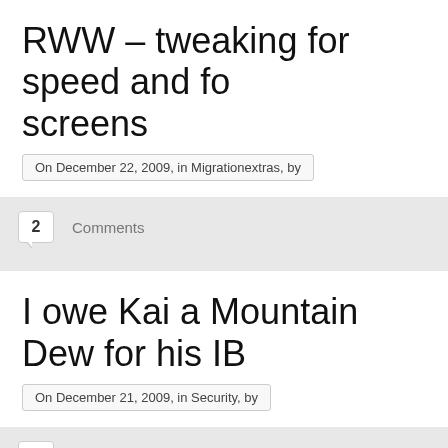RWW – tweaking for speed and for screens
On December 22, 2009, in Migrationextras, by
2 Comments
I owe Kai a Mountain Dew for his IB
On December 21, 2009, in Security, by
1 Comments